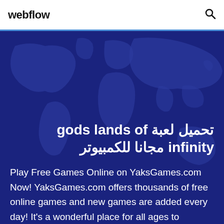webflow
تحميل لعبة gods lands of infinity مجانا للكمبيوتر
Play Free Games Online on YaksGames.com Now! YaksGames.com offers thousands of free online games and new games are added every day! It's a wonderful place for all ages to